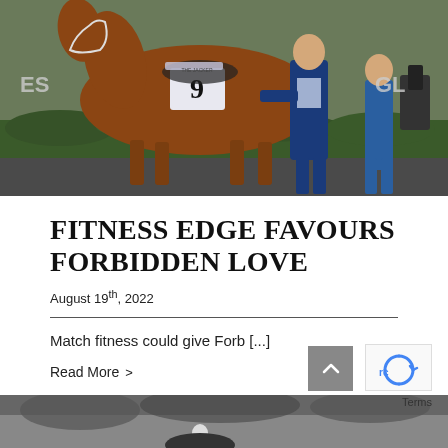[Figure (photo): A chestnut racehorse numbered 9 being led by a man in a blue suit, with a woman in jeans visible at right, at a horse racing event. Green hedges visible in background.]
FITNESS EDGE FAVOURS FORBIDDEN LOVE
August 19th, 2022
Match fitness could give Forb [...]
Read More >
[Figure (photo): Black and white photo of a horse race, partially visible at the bottom of the page.]